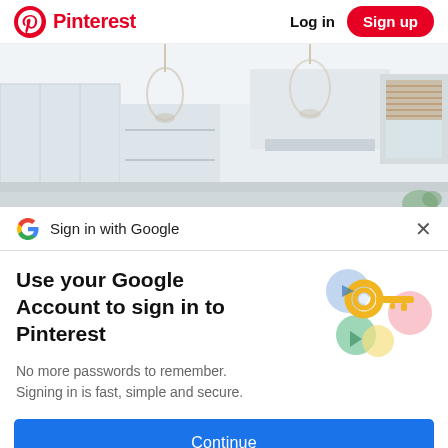Pinterest   Log in   Sign up
[Figure (photo): A bright white modern kitchen interior with glass pendant lights hanging from ceiling, open shelving with items, a large white range hood, and a window with woven bamboo shade on the right.]
Sign in with Google
Use your Google Account to sign in to Pinterest
No more passwords to remember. Signing in is fast, simple and secure.
[Figure (illustration): Google key illustration showing a golden key surrounded by colorful circular shapes in blue, yellow, green, and pink.]
Continue